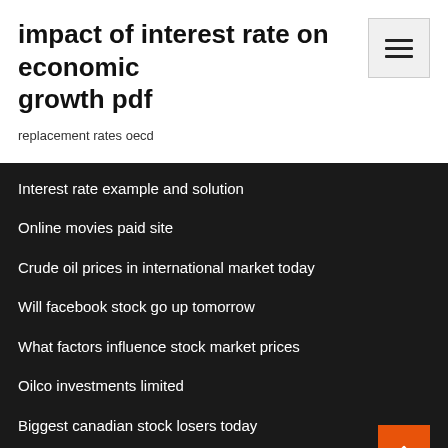impact of interest rate on economic growth pdf
replacement rates oecd
Interest rate example and solution
Online movies paid site
Crude oil prices in international market today
Will facebook stock go up tomorrow
What factors influence stock market prices
Oilco investments limited
Biggest canadian stock losers today
Merrill lynch 401k